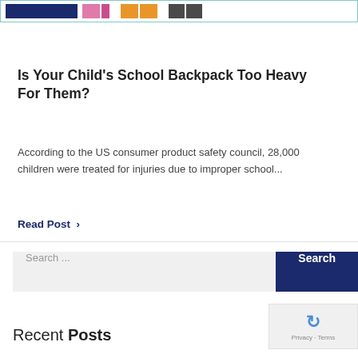[Figure (screenshot): Website header banner with logo and colored block elements in pink, orange, and gray]
Is Your Child's School Backpack Too Heavy For Them?
According to the US consumer product safety council, 28,000 children were treated for injuries due to improper school...
Read Post >
Search ...
Search
[Figure (other): reCAPTCHA widget with Privacy - Terms text]
Recent Posts